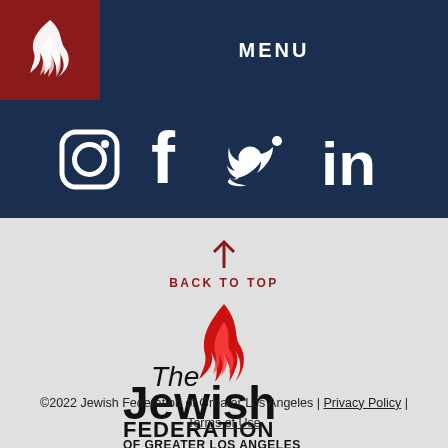MENU
[Figure (logo): Jewish Federation flame logo (white) on dark red background, top-left corner]
[Figure (infographic): Social media icons: Instagram, Facebook, Twitter, LinkedIn — white icons on dark navy background]
BACK TO TOP
[Figure (logo): The Jewish Federation of Greater Los Angeles logo — red flame above the text]
©2022 Jewish Federation of Greater Los Angeles | Privacy Policy | Terms of Use